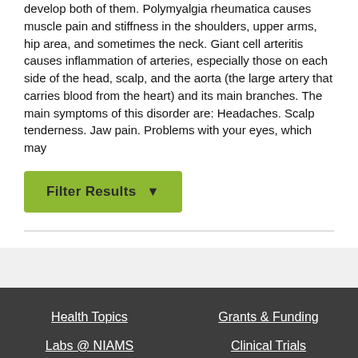develop both of them. Polymyalgia rheumatica causes muscle pain and stiffness in the shoulders, upper arms, hip area, and sometimes the neck. Giant cell arteritis causes inflammation of arteries, especially those on each side of the head, scalp, and the aorta (the large artery that carries blood from the heart) and its main branches. The main symptoms of this disorder are: Headaches. Scalp tenderness. Jaw pain. Problems with your eyes, which may
[Figure (other): Green 'Filter Results' button with a funnel/filter icon]
Health Topics | Grants & Funding | Labs @ NIAMS | Clinical Trials | News Room | About NIAMS